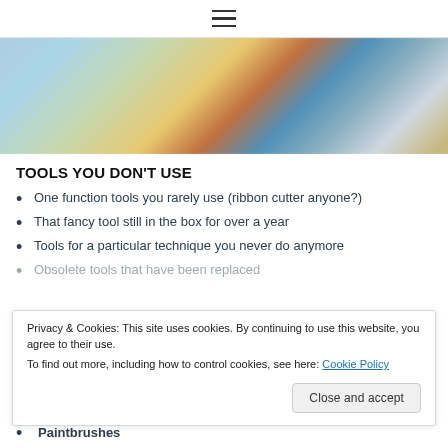☰
[Figure (photo): Blurred photo of a toolbox or tool storage area with various tools visible including what appears to be paint brushes, bottles, and other workshop tools with blue and other colors dominant.]
TOOLS YOU DON'T USE
One function tools you rarely use (ribbon cutter anyone?)
That fancy tool still in the box for over a year
Tools for a particular technique you never do anymore
Obsolete tools that have been replaced
Privacy & Cookies: This site uses cookies. By continuing to use this website, you agree to their use.
To find out more, including how to control cookies, see here: Cookie Policy
Paintbrushes